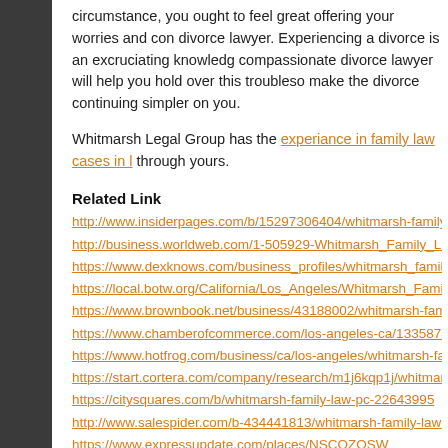circumstance, you ought to feel great offering your worries and concerns to your divorce lawyer. Experiencing a divorce is an excruciating knowledge, and a compassionate divorce lawyer will help you hold over this troublesome period and make the divorce continuing simpler on you.
Whitmarsh Legal Group has the experiance in family law cases in LA to help you through yours.
Related Link
http://www.insiderpages.com/b/15297306404/whitmarsh-family-law...
http://business.worldweb.com/1-505929-Whitmarsh_Family_Law_...
https://www.dexknows.com/business_profiles/whitmarsh_family_la...
https://local.botw.org/California/Los_Angeles/Whitmarsh_Family_L...
https://www.brownbook.net/business/43188002/whitmarsh-family-la...
https://www.chamberofcommerce.com/los-angeles-ca/1335878893...
https://www.hotfrog.com/business/ca/los-angeles/whitmarsh-family...
https://start.cortera.com/company/research/m1j6kqp1j/whitmarsh-fa...
https://citysquares.com/b/whitmarsh-family-law-pc-22643995
http://www.salespider.com/b-434441813/whitmarsh-family-law-pc
https://www.expressupdate.com/places/NSCOZOSW
https://www.neustarlocaleze.biz/directory/us/ca/los-angeles/90067/...pc/900908853/